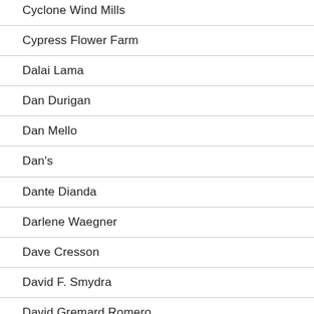Cyclone Wind Mills
Cypress Flower Farm
Dalai Lama
Dan Durigan
Dan Mello
Dan's
Dante Dianda
Darlene Waegner
Dave Cresson
David F. Smydra
David Gremard Romero